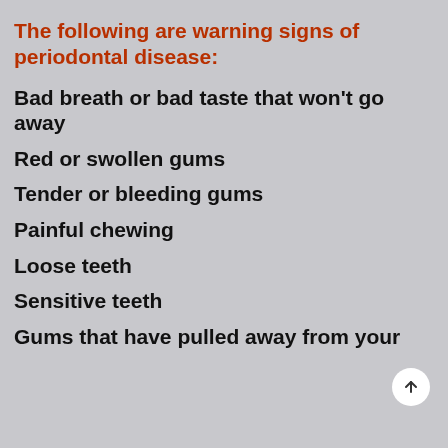The following are warning signs of periodontal disease:
Bad breath or bad taste that won't go away
Red or swollen gums
Tender or bleeding gums
Painful chewing
Loose teeth
Sensitive teeth
Gums that have pulled away from your